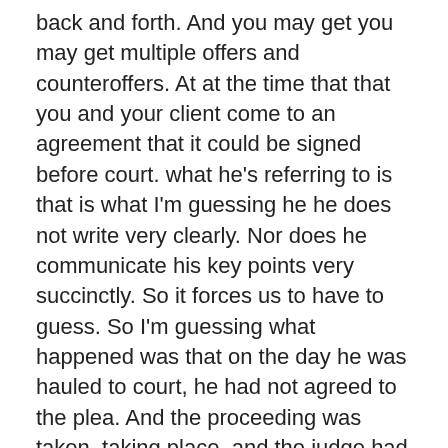back and forth. And you may get you may get multiple offers and counteroffers. At at the time that that you and your client come to an agreement that it could be signed before court. what he's referring to is that is what I'm guessing he he does not write very clearly. Nor does he communicate his key points very succinctly. So it forces us to have to guess. So I'm guessing what happened was that on the day he was hauled to court, he had not agreed to the plea. And the proceeding was taken, taking place, and the judge had called the case. And he's saying that the attorney pressured him at that point, he doesn't use the word pressure, but he's implying that the attorney pressured him to sign it right then. And that at that that's what he's want to know if there was a hobbyist for that. And the answer is probably not. Because even if he signed it, even if everything he described is exactly as he is, I'm, as I'm inferring from what he what he didn't say, if